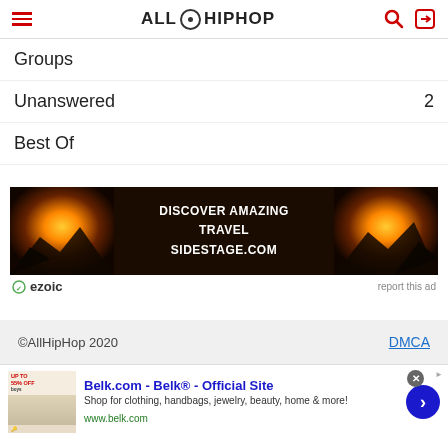AllHipHop
Groups
Unanswered 2
Best Of
[Figure (infographic): Advertisement banner: Discover Amazing Travel SidestStage.com, with sunset over mountains images on left and right, ezoic branding, report this ad link]
©AllHipHop 2020  DMCA
[Figure (infographic): Bottom advertisement: Belk.com - Belk® - Official Site. Shop for clothing, handbags, jewelry, beauty, home & more! www.belk.com]